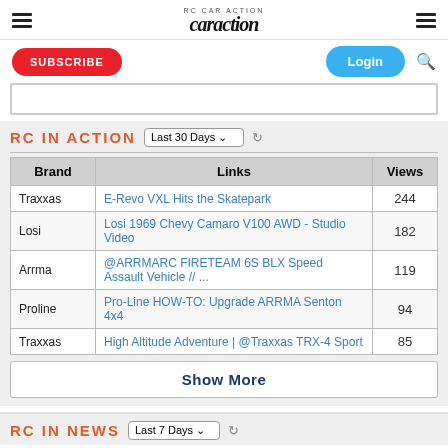RC Car Action - caraction.com header with logo, subscribe and login buttons
RC IN ACTION - Last 30 Days
| Brand | Links | Views |
| --- | --- | --- |
| Traxxas | E-Revo VXL Hits the Skatepark | 244 |
| Losi | Losi 1969 Chevy Camaro V100 AWD - Studio Video | 182 |
| Arrma | @ARRMARC FIRETEAM 6S BLX Speed Assault Vehicle // ... | 119 |
| Proline | Pro-Line HOW-TO: Upgrade ARRMA Senton 4x4 | 94 |
| Traxxas | High Altitude Adventure | @Traxxas TRX-4 Sport | 85 |
Show More
RC IN NEWS - Last 7 Days